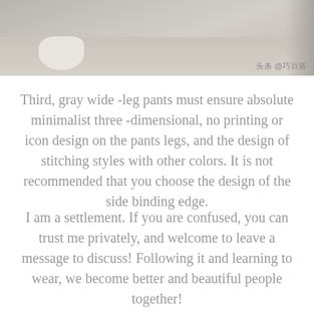[Figure (photo): Cropped photo showing a person's foot/shoe on a light wood floor, with a Chinese watermark '头条 @巧百搭' in the bottom right corner.]
Third, gray wide -leg pants must ensure absolute minimalist three -dimensional, no printing or icon design on the pants legs, and the design of stitching styles with other colors. It is not recommended that you choose the design of the side binding edge.
I am a settlement. If you are confused, you can trust me privately, and welcome to leave a message to discuss! Following it and learning to wear, we become better and beautiful people together!